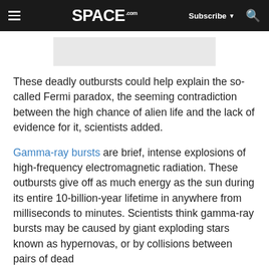SPACE.com — Subscribe — Search
[Figure (other): Gray advertisement placeholder banner]
These deadly outbursts could help explain the so-called Fermi paradox, the seeming contradiction between the high chance of alien life and the lack of evidence for it, scientists added.
Gamma-ray bursts are brief, intense explosions of high-frequency electromagnetic radiation. These outbursts give off as much energy as the sun during its entire 10-billion-year lifetime in anywhere from milliseconds to minutes. Scientists think gamma-ray bursts may be caused by giant exploding stars known as hypernovas, or by collisions between pairs of dead